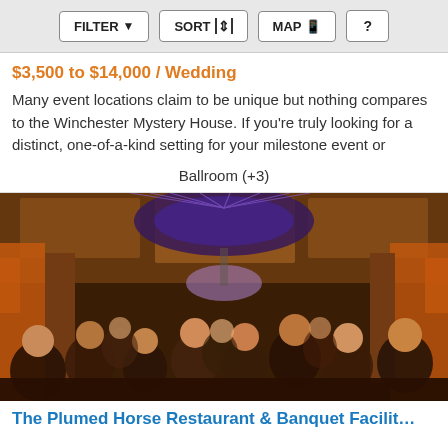FILTER  SORT  MAP  ?
$3,500 to $14,000 / Wedding
Many event locations claim to be unique but nothing compares to the Winchester Mystery House. If you're truly looking for a distinct, one-of-a-kind setting for your milestone event or
Ballroom (+3)
[Figure (photo): Interior of a banquet hall/ballroom with warm orange curtains, a decorative purple/blue backlit ceiling panel, and a crowd of guests mingling at an event.]
The Plumed Horse Restaurant & Banquet Facilit…